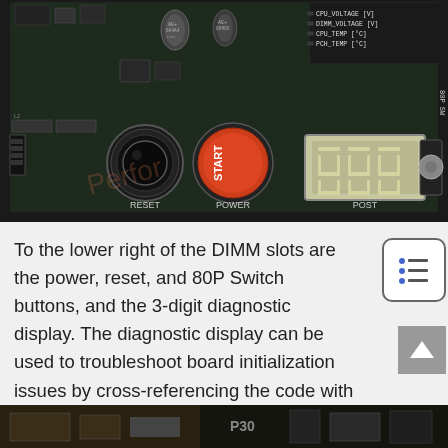[Figure (photo): Close-up photo of a motherboard showing RESET, POWER (red START button), and POST (3-digit 7-segment diagnostic display) buttons/components, with labels for CPU_VOLTAGE, DIMM_VOLTAGE, CPU_TEMP, PCH_TEMP visible on the board, and an 80P SW label.]
To the lower right of the DIMM slots are the power, reset, and 80P Switch buttons, and the 3-digit diagnostic display. The diagnostic display can be used to troubleshoot board initialization issues by cross-referencing the code with the table provided at the back of the motherboard manual.
[Figure (photo): Partial photo of another motherboard component visible at the bottom of the page.]